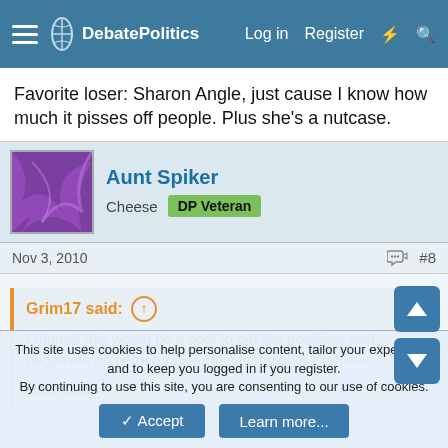DebatePolitics | Log in | Register
Favorite loser: Sharon Angle, just cause I know how much it pisses off people. Plus she's a nutcase.
Aunt Spiker
Cheese | DP Veteran
Nov 3, 2010   #8
Grim17 said:
I though this would be a cool to get the positives and negatives on certain races from last nights elections.

Have at it!
This site uses cookies to help personalise content, tailor your experience and to keep you logged in if you register.
By continuing to use this site, you are consenting to our use of cookies.
Accept   Learn more...